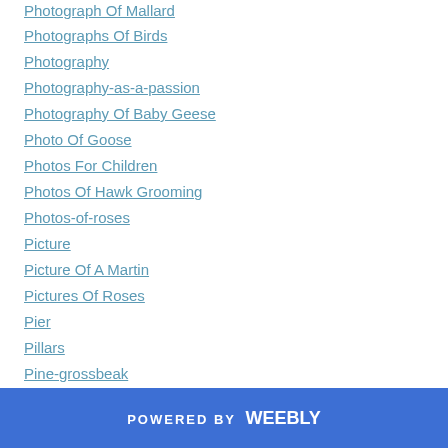Photograph Of Mallard
Photographs Of Birds
Photography
Photography-as-a-passion
Photography Of Baby Geese
Photo Of Goose
Photos For Children
Photos Of Hawk Grooming
Photos-of-roses
Picture
Picture Of A Martin
Pictures Of Roses
Pier
Pillars
Pine-grossbeak
Plato-betsy-seeton-have-in-common
Positive-Thinking
POWERED BY weebly